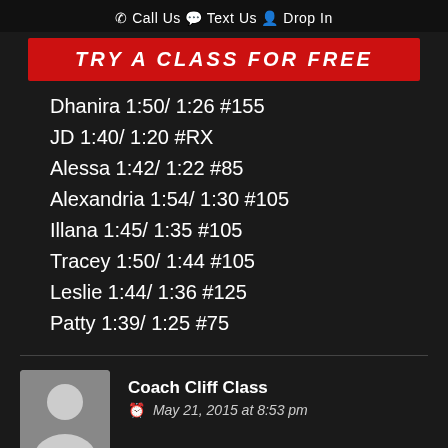Call Us  Text Us  Drop In
[Figure (infographic): Red banner button with white italic bold text: TRY A CLASS FOR FREE]
Dhanira 1:50/ 1:26 #155
JD 1:40/ 1:20 #RX
Alessa 1:42/ 1:22 #85
Alexandria 1:54/ 1:30 #105
Illana 1:45/ 1:35 #105
Tracey 1:50/ 1:44 #105
Leslie 1:44/ 1:36 #125
Patty 1:39/ 1:25 #75
Coach Cliff Class
May 21, 2015 at 8:53 pm
8:00 p.m.